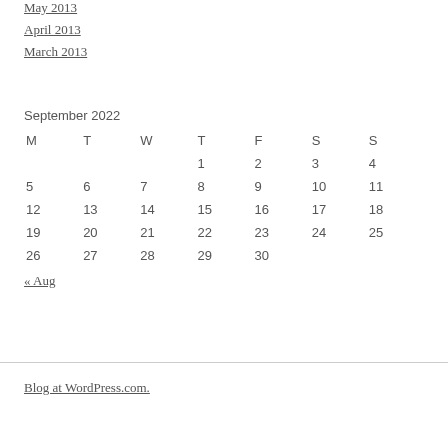May 2013
April 2013
March 2013
| M | T | W | T | F | S | S |
| --- | --- | --- | --- | --- | --- | --- |
|  |  |  | 1 | 2 | 3 | 4 |
| 5 | 6 | 7 | 8 | 9 | 10 | 11 |
| 12 | 13 | 14 | 15 | 16 | 17 | 18 |
| 19 | 20 | 21 | 22 | 23 | 24 | 25 |
| 26 | 27 | 28 | 29 | 30 |  |  |
« Aug
Blog at WordPress.com.